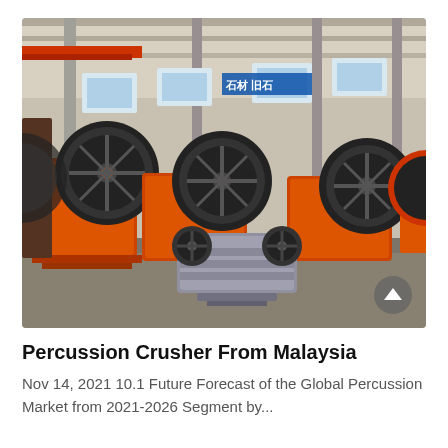[Figure (photo): Industrial factory floor showing multiple large orange jaw crusher machines with black flywheels, and one smaller grey crusher in the foreground. The warehouse has a steel frame structure with natural light from windows.]
Percussion Crusher From Malaysia
Nov 14, 2021 10.1 Future Forecast of the Global Percussion Market from 2021-2026 Segment by...